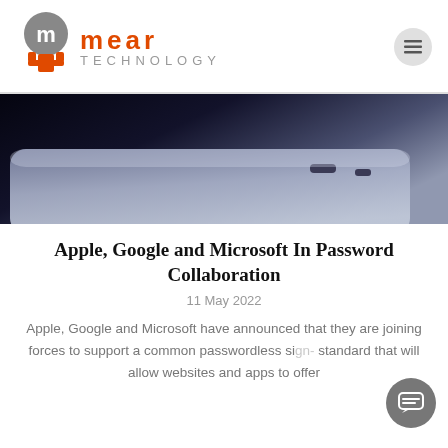mear TECHNOLOGY
[Figure (photo): Close-up photo of a smartphone side profile against a dark background, showing the phone's edge, buttons and metallic finish in dark blue-grey tones.]
Apple, Google and Microsoft In Password Collaboration
11 May 2022
Apple, Google and Microsoft have announced that they are joining forces to support a common passwordless sign-in standard that will allow websites and apps to offer